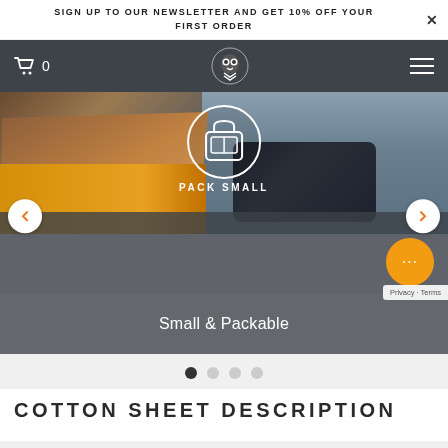SIGN UP TO OUR NEWSLETTER AND GET 10% OFF YOUR FIRST ORDER
[Figure (screenshot): E-commerce website navigation bar with dark gray background, cart icon with 0, center owl logo, and hamburger menu on right]
[Figure (photo): Product feature slide showing a hand holding a packable product against ocean background. White circle icon of a bag with text PACK SMALL. Bottom overlay bar reads Small & Packable. Left and right navigation arrows. Four pagination dots below.]
COTTON SHEET DESCRIPTION